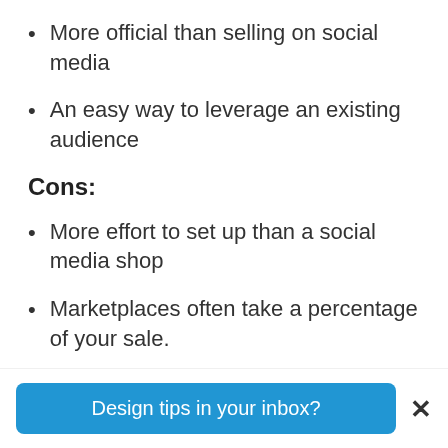More official than selling on social media
An easy way to leverage an existing audience
Cons:
More effort to set up than a social media shop
Marketplaces often take a percentage of your sale.
You might choose to sell online
Design tips in your inbox?